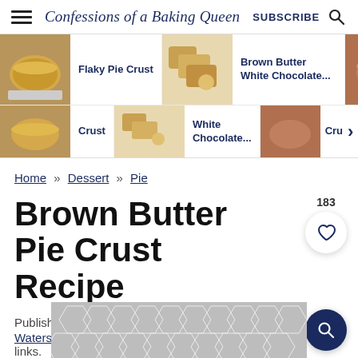Confessions of a Baking Queen   SUBSCRIBE
[Figure (screenshot): Navigation dropdown showing thumbnail links: Flaky Pie Crust, Brown Butter White Chocolate..., Butter Pie Crust partial]
Home » Dessert » Pie
Brown Butter Pie Crust Recipe
Published: Jun 28, 2018 · by Elizabeth Waterson · This post may contain affiliate links.